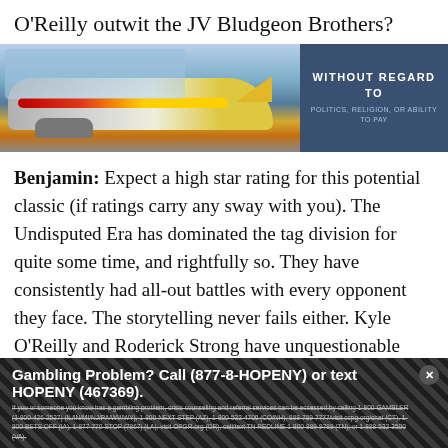O'Reilly outwit the JV Bludgeon Brothers?
[Figure (photo): Photo of cargo airplane on tarmac with freight being loaded; blue and yellow aircraft visible. Adjacent dark blue banner text reads WITHOUT REGARD TO POLITICS, RELIGION, OR ABILITY TO PAY]
Benjamin: Expect a high star rating for this potential classic (if ratings carry any sway with you). The Undisputed Era has dominated the tag division for quite some time, and rightfully so. They have consistently had all-out battles with every opponent they face. The storytelling never fails either. Kyle O'Reilly and Roderick Strong have unquestionable chemistry and the War Raiders…well, they're the War Raiders, their history speaks for itself. Undisputed will pull every dirty trick in the book and use their speed and wits to their advantage, but in the end, the War Raiders will be your new
Gambling Problem? Call (877-8-HOPENY) or text HOPENY (467369). If you or someone you know has a gambling problem, crisis counseling and referral services can be accessed by calling 1-800-GAMBLER (1-800-426-2537) (IL/IN/MI/NJ/PA/WV/WY), 1-800-NEXT STEP (AZ), 1-800-522-4700 (CO/NH), 888-789-7777/visit ccpg.org/chat (CT), 1-800-BETS OFF (IA), 1-877-770-STOP (7867) (LA), visit OPGR.org (OR), call/text TN REDLINE 1-800-889-9789 (TN), or 1-888-532-3500 (VA).